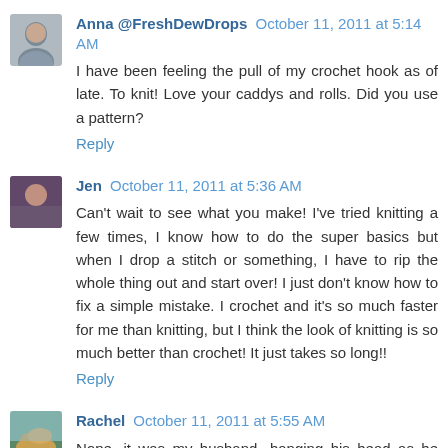Anna @FreshDewDrops October 11, 2011 at 5:14 AM
I have been feeling the pull of my crochet hook as of late. To knit! Love your caddys and rolls. Did you use a pattern?
Reply
Jen October 11, 2011 at 5:36 AM
Can't wait to see what you make! I've tried knitting a few times, I know how to do the super basics but when I drop a stitch or something, I have to rip the whole thing out and start over! I just don't know how to fix a simple mistake. I crochet and it's so much faster for me than knitting, but I think the look of knitting is so much better than crochet! It just takes so long!!
Reply
Rachel October 11, 2011 at 5:55 AM
Nope, it was my husband...banging his head as he tried to change the passwords to all things money